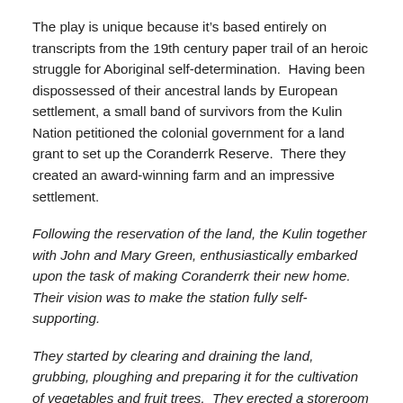The play is unique because it's based entirely on transcripts from the 19th century paper trail of an heroic struggle for Aboriginal self-determination.  Having been dispossessed of their ancestral lands by European settlement, a small band of survivors from the Kulin Nation petitioned the colonial government for a land grant to set up the Coranderrk Reserve.  There they created an award-winning farm and an impressive settlement.
Following the reservation of the land, the Kulin together with John and Mary Green, enthusiastically embarked upon the task of making Coranderrk their new home. Their vision was to make the station fully self-supporting.
They started by clearing and draining the land, grubbing, ploughing and preparing it for the cultivation of vegetables and fruit trees.  They erected a storeroom and a